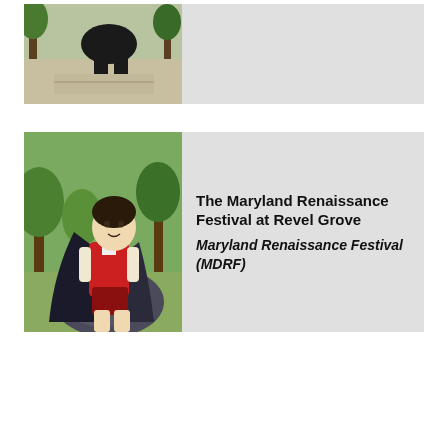[Figure (photo): Partial photo of a person crouching near a rock or stone surface outdoors, wearing dark pants and pink/red shoes. Trees visible in background.]
[Figure (photo): Photo of a person in Renaissance costume seated outdoors — wearing a red vest, white shirt, dark cape, and holding or posed near a skull prop. Trees in background.]
The Maryland Renaissance Festival at Revel Grove
Maryland Renaissance Festival (MDRF)